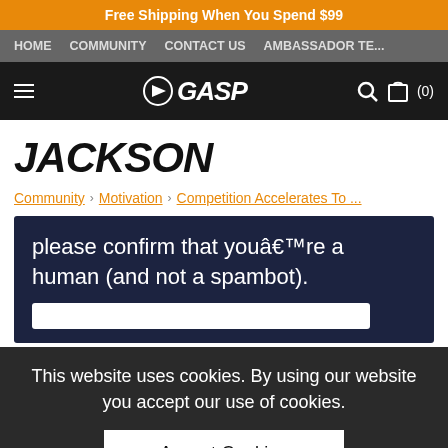Free Shipping When You Spend $99
HOME  COMMUNITY  CONTACT US  AMBASSADOR TE...
[Figure (logo): GASP brand logo with arrow icon and italic GASP text in white on dark background, with hamburger menu, search and cart icons]
JACKSON
Community > Motivation > Competition Accelerates To ...
please confirm that youâ€™re a human (and not a spambot).
This website uses cookies. By using our website you accept our use of cookies.
Accept Cookies